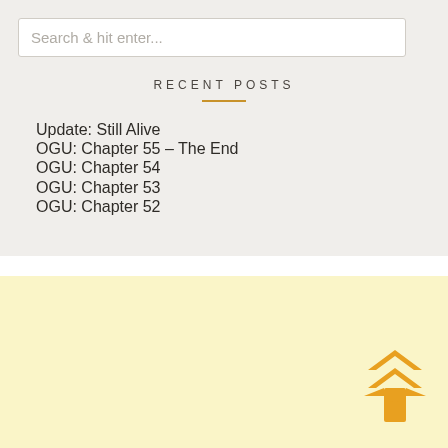Search & hit enter...
RECENT POSTS
Update: Still Alive
OGU: Chapter 55 – The End
OGU: Chapter 54
OGU: Chapter 53
OGU: Chapter 52
[Figure (other): Scroll-to-top double chevron/arrow icon in orange/gold color on pale yellow background]